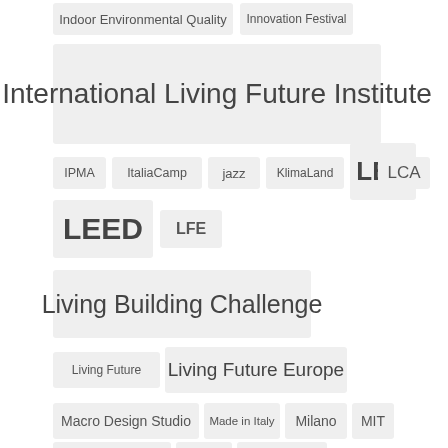Indoor Environmental Quality
Innovation Festival
International Living Future Institute
IPMA
ItaliaCamp
jazz
KlimaLand
LBC
LCA
LEED
LFE
Living Building Challenge
Living Future
Living Future Europe
Macro Design Studio
Made in Italy
Milano
MIT
NOI Techpark
photo
regeneration